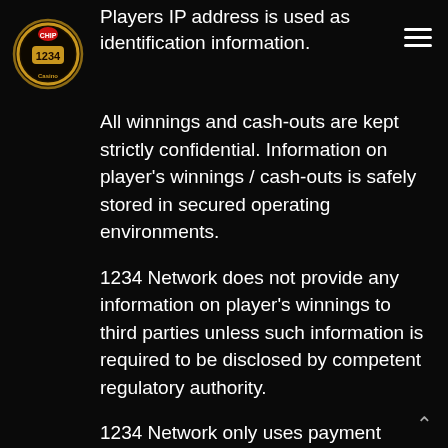[Figure (logo): 1234 Casino logo — circular emblem with playing card chips and the number 1234]
Players IP address is used as identification information.
All winnings and cash-outs are kept strictly confidential. Information on player's winnings / cash-outs is safely stored in secured operating environments.
1234 Network does not provide any information on player's winnings to third parties unless such information is required to be disclosed by competent regulatory authority.
1234 Network only uses payment solutions equipped with Card Verifiable Certificates (CVC). These payment solutions use advanced RSA public/private key encryption